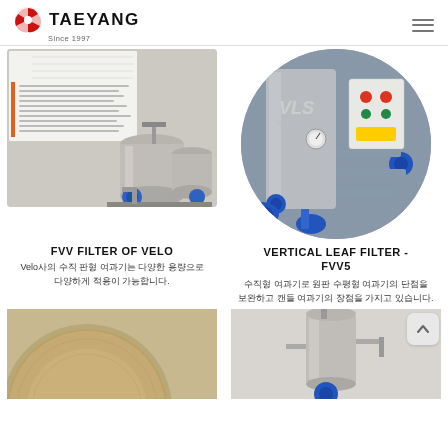TAEYANG Since 1997
[Figure (photo): FVV Filter of Velo - stainless steel filter tanks with pumps and piping, product data sheet visible in background]
[Figure (photo): Vertical Leaf Filter FVV5 - VLS Technology branded vertical filter system with blue valves and control panel, circular crop]
FVV FILTER OF VELO
Velo사의 수직 판형 여과기는 다양한 용량으로 다양하게 적용이 가능합니다.
VERTICAL LEAF FILTER - FVV5
수직형 여과기로 원판 수평형 여과기의 단점을 보완하고 캔들 여과기의 장점을 가지고 있습니다.
[Figure (photo): Round filter disc/pad element - circular metal filter component, partially visible at bottom left]
[Figure (photo): Small vertical stainless steel filter unit with pump, partially visible at bottom right]